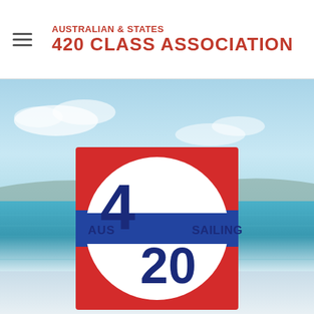AUSTRALIAN & STATES 420 CLASS ASSOCIATION
[Figure (photo): Outdoor sailing water scene with blue sky and sea, with the AUS 420 Sailing class association logo centered over the image. The logo is a red square with a blue horizontal stripe, containing a white circle with the text '4', '20', 'AUS', and 'SAILING' in dark blue.]